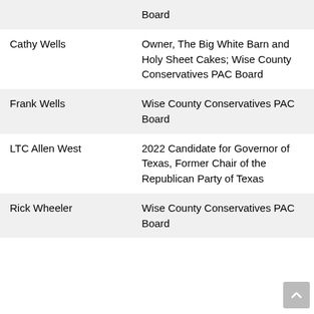| Name | Role/Affiliation |
| --- | --- |
|  | Board |
| Cathy Wells | Owner, The Big White Barn and Holy Sheet Cakes; Wise County Conservatives PAC Board |
| Frank Wells | Wise County Conservatives PAC Board |
| LTC Allen West | 2022 Candidate for Governor of Texas, Former Chair of the Republican Party of Texas |
| Rick Wheeler | Wise County Conservatives PAC Board |